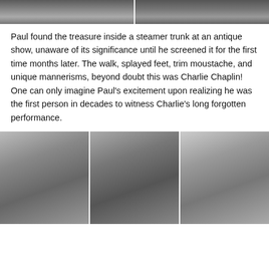[Figure (photo): Two black and white film stills side by side showing legs/feet near a steamer trunk, top of page]
Paul found the treasure inside a steamer trunk at an antique show, unaware of its significance until he screened it for the first time months later. The walk, splayed feet, trim moustache, and unique mannerisms, beyond doubt this was Charlie Chaplin! One can only imagine Paul's excitement upon realizing he was the first person in decades to witness Charlie's long forgotten performance.
[Figure (photo): Three black and white film stills side by side: left shows a man in a top hat and coat, middle shows a crowd scene, right shows a man in a room with others seated]
[Figure (photo): Middle photo of a crowd scene at bottom]
[Figure (photo): Right photo of interior scene at bottom]